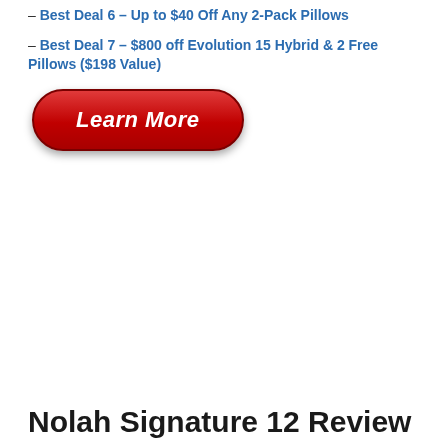– Best Deal 6 – Up to $40 Off Any 2-Pack Pillows
– Best Deal 7 – $800 off Evolution 15 Hybrid & 2 Free Pillows ($198 Value)
[Figure (other): Red rounded rectangle button with white bold italic text reading 'Learn More']
Nolah Signature 12 Review